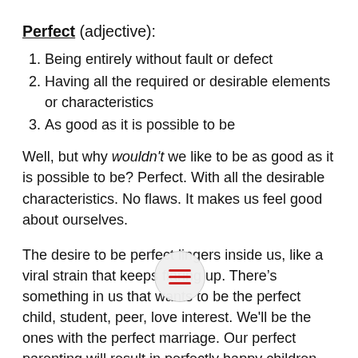Perfect (adjective):
Being entirely without fault or defect
Having all the required or desirable elements or characteristics
As good as it is possible to be
Well, but why wouldn't we like to be as good as it is possible to be? Perfect. With all the desirable characteristics. No flaws. It makes us feel good about ourselves.
The desire to be perfect lingers inside us, like a viral strain that keeps flaring up. There's something in us that wants to be the perfect child, student, peer, love interest. We'll be the ones with the perfect marriage. Our perfect parenting will result in perfectly happy children. It's